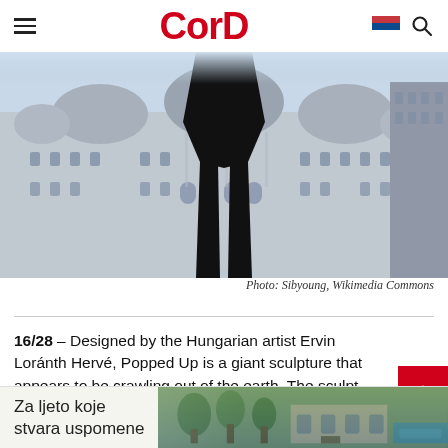CorD
[Figure (photo): Black sculpture figure against a grand European-style building facade (Philadelphia City Hall), with a large dark abstract sculpture appearing to emerge from the ground in the foreground]
Photo: Sibyoung, Wikimedia Commons
16/28 – Designed by the Hungarian artist Ervin Loránth Hervé, Popped Up is a giant sculpture that appears to be crawling out of the earth. The sculpt is located at Széchenyi Square in Budapest.
[Figure (photo): Advertisement banner: Za ljeto koje stvara uspomene, with image of a building and pool area]